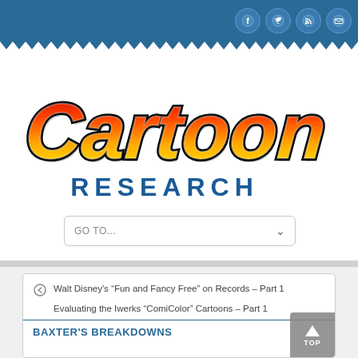Cartoon Research - navigation bar with social icons (Facebook, Twitter, RSS, Email)
[Figure (logo): Cartoon Research logo - 'Cartoon' in large stylized script with yellow-to-red gradient and black outline, 'RESEARCH' in bold blue block letters below]
GO TO...
Walt Disney's “Fun and Fancy Free” on Records – Part 1
Evaluating the Iwerks “ComiColor” Cartoons – Part 1
BAXTER'S BREAKDOWNS